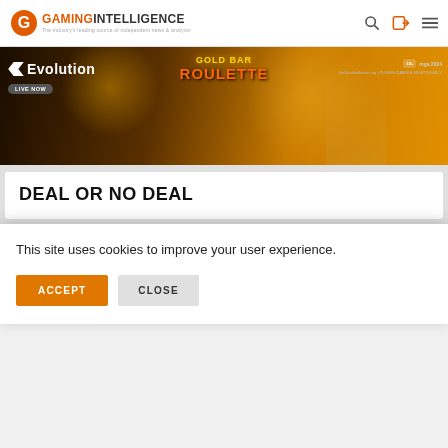Gaming Intelligence — The industry's leading source of independent news & analysis
[Figure (photo): Evolution Gold Bar Roulette promotional banner with dealer, golden background, Evolution logo, MGA licensing badge]
DEAL OR NO DEAL
[Figure (screenshot): Two article card thumbnails — left one with black background, right one with gold/dark pattern background]
This site uses cookies to improve your user experience.
ACCEPT
CLOSE